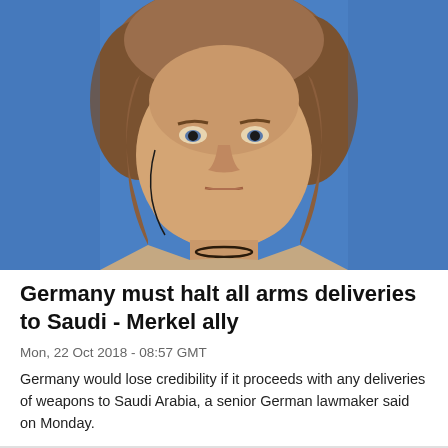[Figure (photo): Close-up photo of Angela Merkel with a serious expression against a blue background, wearing earphones and a beige jacket with a dark necklace]
Germany must halt all arms deliveries to Saudi - Merkel ally
Mon, 22 Oct 2018 - 08:57 GMT
Germany would lose credibility if it proceeds with any deliveries of weapons to Saudi Arabia, a senior German lawmaker said on Monday.
[Figure (photo): Partial photo of another person, cropped at bottom of page]